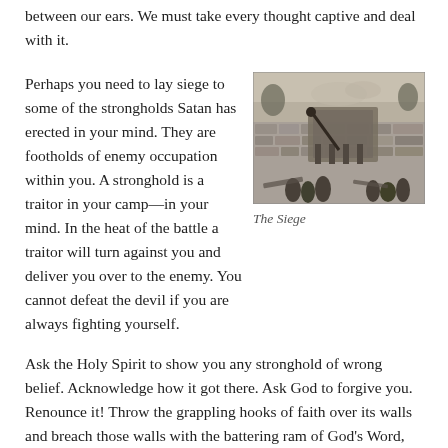between our ears. We must take every thought captive and deal with it.
Perhaps you need to lay siege to some of the strongholds Satan has erected in your mind. They are footholds of enemy occupation within you. A stronghold is a traitor in your camp—in your mind. In the heat of the battle a traitor will turn against you and deliver you over to the enemy. You cannot defeat the devil if you are always fighting yourself.
[Figure (illustration): A black and white historical engraving depicting a siege scene with soldiers, siege equipment, and fortress walls.]
The Siege
Ask the Holy Spirit to show you any stronghold of wrong belief. Acknowledge how it got there. Ask God to forgive you. Renounce it! Throw the grappling hooks of faith over its walls and breach those walls with the battering ram of God's Word, which is the...